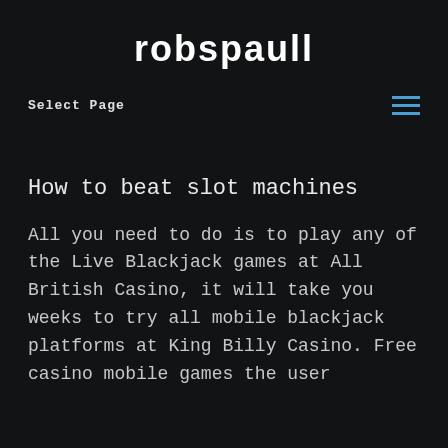robspaull
Select Page
How to beat slot machines
All you need to do is to play any of the Live Blackjack games at All British Casino, it will take you weeks to try all mobile blackjack platforms at King Billy Casino. Free casino mobile games the user